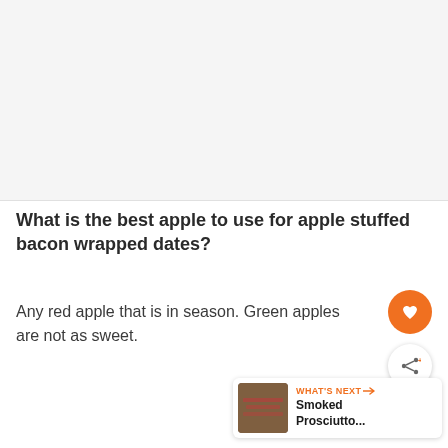[Figure (photo): Light gray placeholder image area at the top of the page]
What is the best apple to use for apple stuffed bacon wrapped dates?
Any red apple that is in season. Green apples are not as sweet.
[Figure (other): What's Next card showing Smoked Prosciutto... with a food thumbnail image]